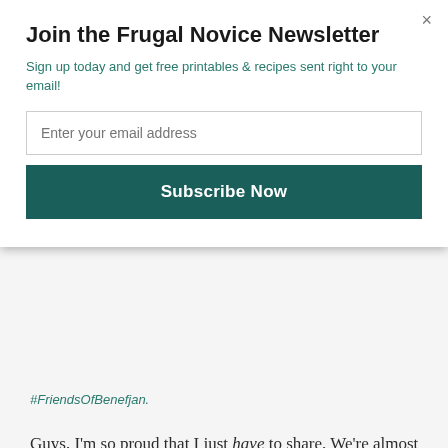Join the Frugal Novice Newsletter
Sign up today and get free printables & recipes sent right to your email!
Enter your email address
Subscribe Now
#FriendsOfBenefjan.
Guys, I'm so proud that I just have to share. We're almost done with Christmas shopping, y'all. And there are still five days to go! That might just be a record for us. We've gotten cousin gifts, grandparent gifts, and of course gifts for our kids – and in our house we definitely can't forget our pet gifts, either. We shop for our two dogs, my mom's dog, and my brother & sister-in-law's dogs – it's